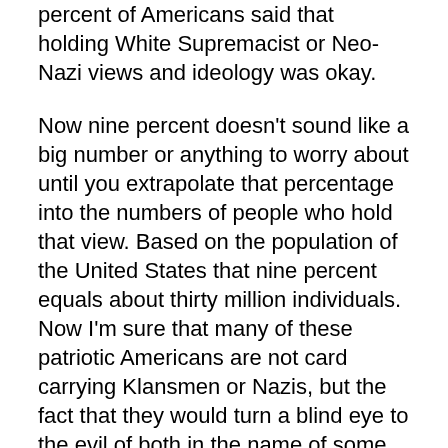percent of Americans said that holding White Supremacist or Neo-Nazi views and ideology was okay.
Now nine percent doesn't sound like a big number or anything to worry about until you extrapolate that percentage into the numbers of people who hold that view. Based on the population of the United States that nine percent equals about thirty million individuals. Now I'm sure that many of these patriotic Americans are not card carrying Klansmen or Nazis, but the fact that they would turn a blind eye to the evil of both in the name of some incomprehensible moral equivalence as did President Trump after Charlottesville is quite disturbing. Perhaps it is his example that enables them to be so open about their acceptance of evil.
Yesterday on my Facebook page a friend of a friend commented on an article which discussed new research